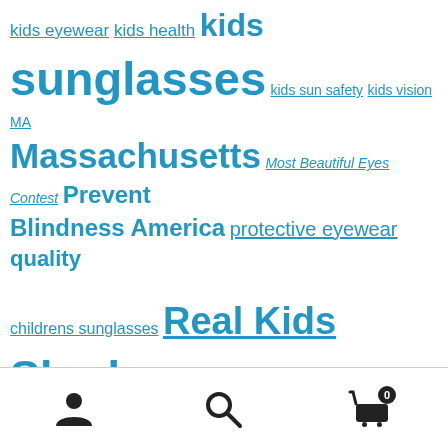kids eyewear kids health kids sunglasses kids sun safety kids vision MA Massachusetts Most Beautiful Eyes Contest Prevent Blindness America protective eyewear quality childrens sunglasses Real Kids Shades sports eye safety sports sunglasses spring sports eye safety Star Pupils sunglasses sunglasses for boys sunglasses for girls sunglasses for tweens sun protection for my kid tween sunglasses UVA rays UVB rays UV protection for kids winter eye protection
user icon, search icon, cart icon with badge 0